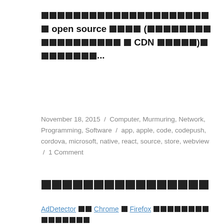██████████████████████ open source ████ (████████████████ █ CDN █████)████████...
November 18, 2015 / Computer, Murmuring, Network, Programming, Software / app, apple, code, codepush, cordova, microsoft, native, react, source, store, webview / 1 Comment
████████████████
AdDetector ██ Chrome █ Firefox ██████████████████ ██████
AdDetector reveals articles with corporate sponsors...